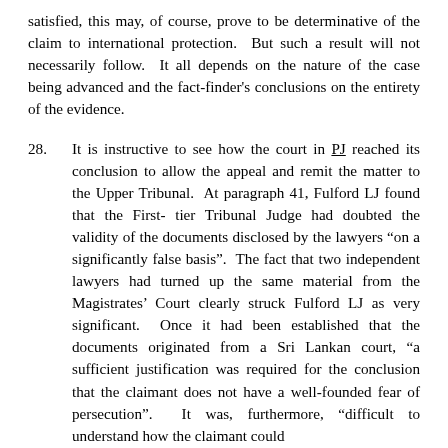satisfied, this may, of course, prove to be determinative of the claim to international protection. But such a result will not necessarily follow. It all depends on the nature of the case being advanced and the fact-finder's conclusions on the entirety of the evidence.
28. It is instructive to see how the court in PJ reached its conclusion to allow the appeal and remit the matter to the Upper Tribunal. At paragraph 41, Fulford LJ found that the First-tier Tribunal Judge had doubted the validity of the documents disclosed by the lawyers “on a significantly false basis”. The fact that two independent lawyers had turned up the same material from the Magistrates’ Court clearly struck Fulford LJ as very significant. Once it had been established that the documents originated from a Sri Lankan court, “a sufficient justification was required for the conclusion that the claimant does not have a well-founded fear of persecution”. It was, furthermore, “difficult to understand how the claimant could